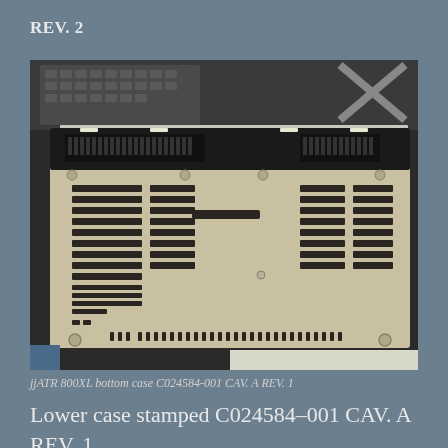REV. 2
[Figure (photo): Bottom view of an Atari 800XL computer case, showing ventilation slots, screw holes, and molded plastic bottom panel. The case is beige/cream colored with black ventilation grilles on left and right sides, and a rectangular slot in the center. Keyboard visible in background.]
jjATR 800XL bottom case C024584-001 CAV. A REV. 1
Lower case stamped C024584-001 CAV. A REV. 1.